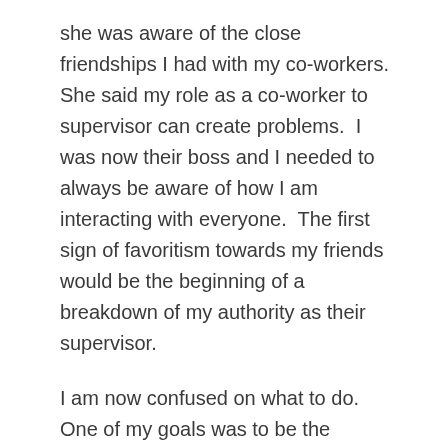she was aware of the close friendships I had with my co-workers.  She said my role as a co-worker to supervisor can create problems.  I was now their boss and I needed to always be aware of how I am interacting with everyone.  The first sign of favoritism towards my friends would be the beginning of a breakdown of my authority as their supervisor.
I am now confused on what to do.  One of my goals was to be the supervisor.  I am aware of the increase of responsibilities and I am prepared and ready to take on the job.  At the same time, I know my role as "weekend friend" has to change.  My boss included examples: only going to lunch every day with only the select few would create perceived favoritism - something my friends and I always did; internal company conversations needed to be kept between